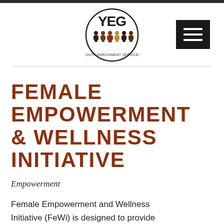[Figure (logo): YEG Youth Enrichment Services circular logo with figures of people]
FEMALE EMPOWERMENT & WELLNESS INITIATIVE
Empowerment
Female Empowerment and Wellness Initiative (FeWi) is designed to provide